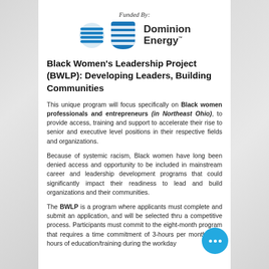Funded By:
[Figure (logo): Dominion Energy logo with blue striped shield icon and bold text 'Dominion Energy']
Black Women's Leadership Project (BWLP): Developing Leaders, Building Communities
This unique program will focus specifically on Black women professionals and entrepreneurs (in Northeast Ohio), to provide access, training and support to accelerate their rise to senior and executive level positions in their respective fields and organizations.
Because of systemic racism, Black women have long been denied access and opportunity to be included in mainstream career and leadership development programs that could significantly impact their readiness to lead and build organizations and their communities.
The BWLP is a program where applicants must complete and submit an application, and will be selected thru a competitive process. Participants must commit to the eight-month program that requires a time commitment of 3-hours per month. Two hours of education/training during the workday